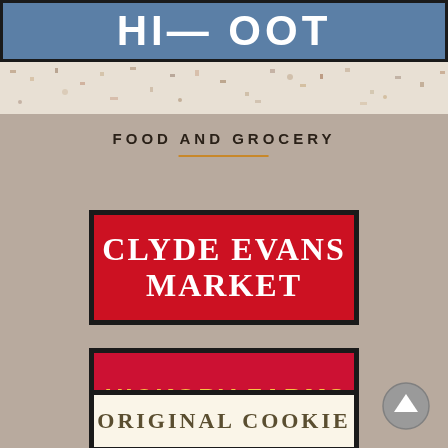[Figure (logo): Partial blue banner at top with white bold text, partially cut off]
[Figure (photo): Horizontal terrazzo / speckled stone texture band]
FOOD AND GROCERY
[Figure (logo): Clyde Evans Market logo: red background with white serif text on black bordered rectangle]
[Figure (logo): Hickory Farms logo: red background with yellow italic bold text on black bordered rectangle]
[Figure (logo): Original Cookie logo: cream/white background with dark olive serif text on black bordered rectangle, partially visible]
[Figure (other): Circular scroll-to-top button with upward arrow, grey circle]